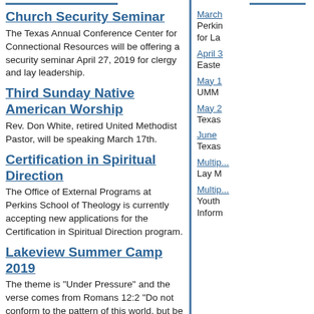Church Security Seminar
The Texas Annual Conference Center for Connectional Resources will be offering a security seminar April 27, 2019 for clergy and lay leadership.
Third Sunday Native American Worship
Rev. Don White, retired United Methodist Pastor, will be speaking March 17th.
Certification in Spiritual Direction
The Office of External Programs at Perkins School of Theology is currently accepting new applications for the Certification in Spiritual Direction program.
Lakeview Summer Camp 2019
The theme is "Under Pressure" and the verse comes from Romans 12:2 "Do not conform to the pattern of this world, but be transformed by the renewing of your mind.
Resources for Lent and Easter
Eastertide is the most joyous and celebratory season of the Christian year.
March — Perkins for La...
April — Easte...
May — UMM...
May 2 — Texas...
June — Texas...
Multiple — Lay M...
Multiple — Youth Inform...